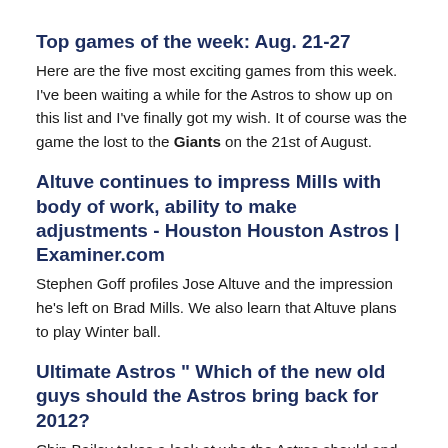Top games of the week: Aug. 21-27
Here are the five most exciting games from this week. I've been waiting a while for the Astros to show up on this list and I've finally got my wish. It of course was the game the lost to the Giants on the 21st of August.
Altuve continues to impress Mills with body of work, ability to make adjustments - Houston Houston Astros | Examiner.com
Stephen Goff profiles Jose Altuve and the impression he's left on Brad Mills. We also learn that Altuve plans to play Winter ball.
Ultimate Astros " Which of the new old guys should the Astros bring back for 2012?
Chip Bailey takes a look at who the Astros should and